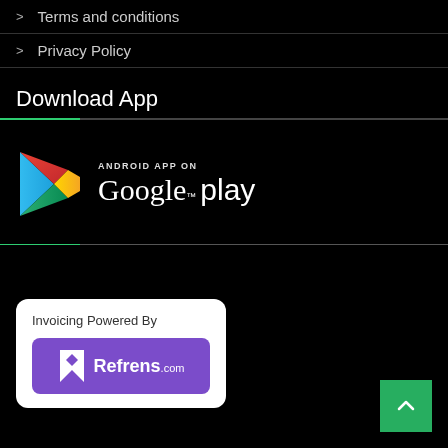> Terms and conditions
> Privacy Policy
Download App
[Figure (logo): Google Play Store badge with colorful triangle logo, text 'ANDROID APP ON Google play']
[Figure (logo): White rounded box with 'Invoicing Powered By' text and purple Refrens.com badge below]